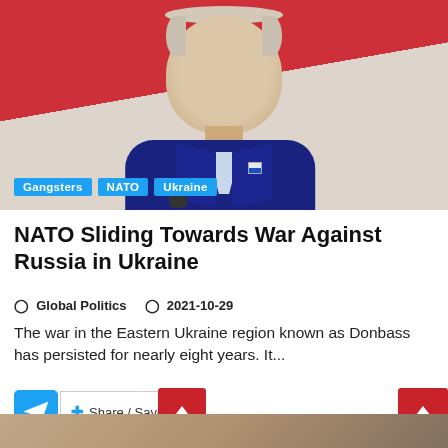[Figure (photo): Photo of an elderly man in a dark blue suit speaking at a podium, with a red and white background. Category tags 'Gangsters', 'NATO', and 'Ukraine' are overlaid at the bottom of the image.]
NATO Sliding Towards War Against Russia in Ukraine
Global Politics   2021-10-29
The war in the Eastern Ukraine region known as Donbass has persisted for nearly eight years. It...
Share / Save